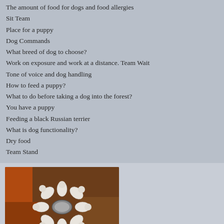The amount of food for dogs and food allergies
Sit Team
Place for a puppy
Dog Commands
What breed of dog to choose?
Work on exposure and work at a distance. Team Wait
Tone of voice and dog handling
How to feed a puppy?
What to do before taking a dog into the forest?
You have a puppy
Feeding a black Russian terrier
What is dog functionality?
Dry food
Team Stand
[Figure (photo): Aerial view of several white puppies arranged in a circle around a food bowl, on a brown/orange background]
Primary education puppy
First of all, give your baby a name. Often the pu... in the nursery are called breeders, and it is cus... the nicknames of littermates to begin with...
Continue reading →